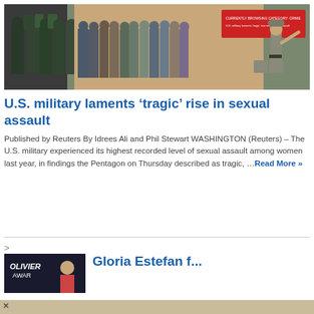[Figure (photo): Military recruits with duffel bags lined up against a wall, a drill sergeant gesturing at them from the right side]
U.S. military laments ‘tragic’ rise in sexual assault
Published by Reuters By Idrees Ali and Phil Stewart WASHINGTON (Reuters) – The U.S. military experienced its highest recorded level of sexual assault among women last year, in findings the Pentagon on Thursday described as tragic, ...Read More »
[Figure (photo): Olivier Awards banner with a woman partially visible]
Gloria Estefan f...